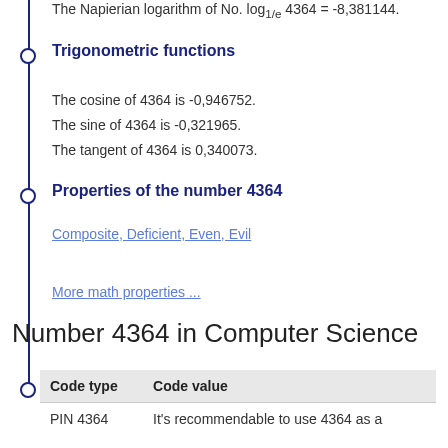The Napierian logarithm of No. log1/e 4364 = -8,381144.
Trigonometric functions
The cosine of 4364 is -0,946752.
The sine of 4364 is -0,321965.
The tangent of 4364 is 0,340073.
Properties of the number 4364
Composite, Deficient, Even, Evil
More math properties ...
Number 4364 in Computer Science
| Code type | Code value |
| --- | --- |
| PIN 4364 | It's recommendable to use 4364 as a |